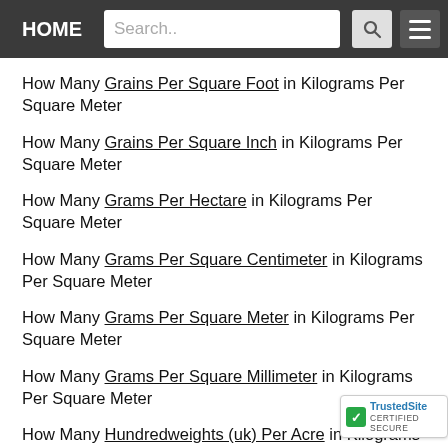HOME | Search..
How Many Grains Per Square Foot in Kilograms Per Square Meter
How Many Grains Per Square Inch in Kilograms Per Square Meter
How Many Grams Per Hectare in Kilograms Per Square Meter
How Many Grams Per Square Centimeter in Kilograms Per Square Meter
How Many Grams Per Square Meter in Kilograms Per Square Meter
How Many Grams Per Square Millimeter in Kilograms Per Square Meter
How Many Hundredweights (uk) Per Acre in Kilograms Per Square Meter